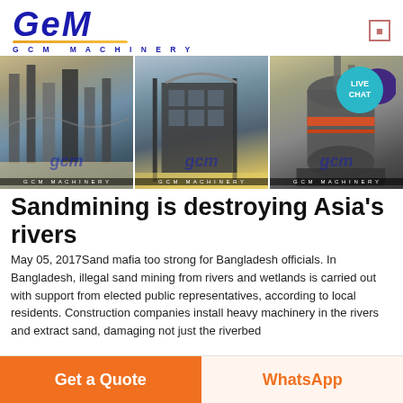GCM MACHINERY
[Figure (photo): Three photos of industrial sand mining machinery with GCM Machinery watermarks. Left: outdoor industrial plant with silos and conveyors. Middle: large indoor industrial equipment in factory. Right: cylindrical grinding/milling machine. Live Chat badge visible top right.]
Sandmining is destroying Asia's rivers
May 05, 2017Sand mafia too strong for Bangladesh officials. In Bangladesh, illegal sand mining from rivers and wetlands is carried out with support from elected public representatives, according to local residents. Construction companies install heavy machinery in the rivers and extract sand, damaging not just the riverbed
Get a Quote   WhatsApp